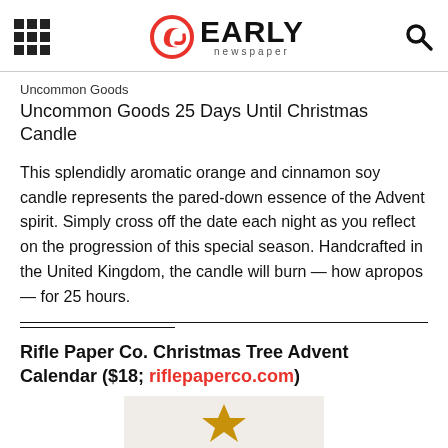EARLY newspaper
Uncommon Goods
Uncommon Goods 25 Days Until Christmas Candle
This splendidly aromatic orange and cinnamon soy candle represents the pared-down essence of the Advent spirit. Simply cross off the date each night as you reflect on the progression of this special season. Handcrafted in the United Kingdom, the candle will burn — how apropos — for 25 hours.
Rifle Paper Co. Christmas Tree Advent Calendar ($18; riflepaperco.com)
[Figure (illustration): Partial view of an advent calendar illustration with a star shape visible at the bottom of the page on a light beige background]